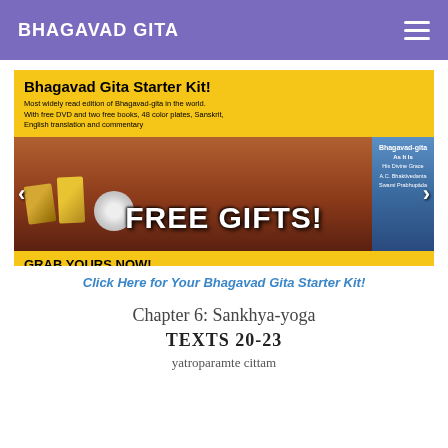BHAGAVAD GITA
[Figure (illustration): Bhagavad Gita Starter Kit promotional banner with yellow header, book and DVD images, FREE GIFTS text, and GRAB YOURS NOW call to action.]
Click Here for Your Bhagavad Gita Starter Kit!
Chapter 6: Sankhya-yoga
TEXTS 20-23
yatroparamte cittam